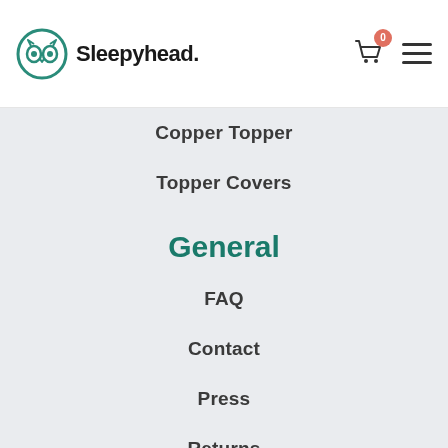[Figure (logo): Sleepyhead brand logo with owl icon and text 'Sleepyhead.']
Copper Topper
Topper Covers
General
FAQ
Contact
Press
Returns
Company
Story
Diary